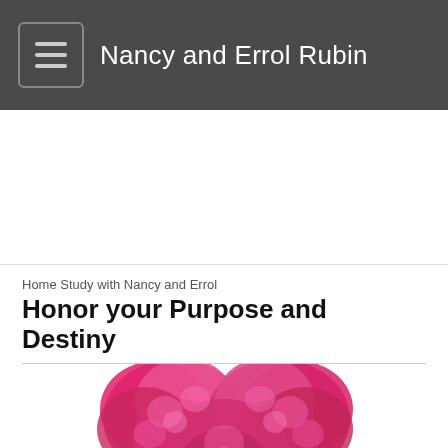Nancy and Errol Rubin
[Figure (other): Advertisement banner placeholder, white rectangle with light border]
Home Study with Nancy and Errol
Honor your Purpose and Destiny
[Figure (photo): Heart-shaped arrangement of pink and magenta roses on white background]